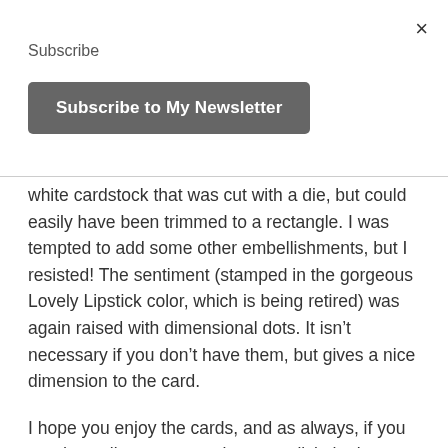×
Subscribe
[Figure (other): Dark grey rounded button labeled 'Subscribe to My Newsletter']
white cardstock that was cut with a die, but could easily have been trimmed to a rectangle. I was tempted to add some other embellishments, but I resisted! The sentiment (stamped in the gorgeous Lovely Lipstick color, which is being retired) was again raised with dimensional dots. It isn't necessary if you don't have them, but gives a nice dimension to the card.
I hope you enjoy the cards, and as always, if you need supplies or want to browse, click the button above to visit my store. As mentioned, the designer